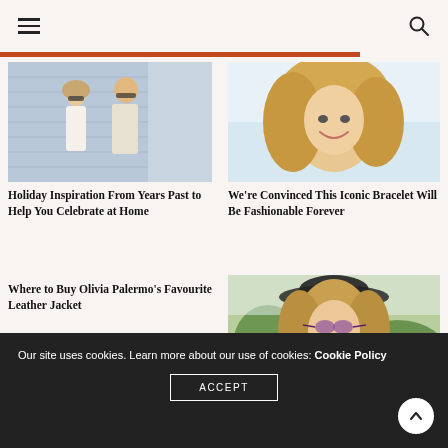[Figure (photo): Man and woman walking outdoors, woman in white top with sunglasses, man in graphic tee with sunglasses]
[Figure (photo): Smiling blonde woman close-up portrait outdoors]
Holiday Inspiration From Years Past to Help You Celebrate at Home
We're Convinced This Iconic Bracelet Will Be Fashionable Forever
Where to Buy Olivia Palermo's Favourite Leather Jacket
[Figure (photo): Smiling woman with wavy hair wearing sunglasses and hat outdoors]
Our site uses cookies. Learn more about our use of cookies: Cookie Policy
ACCEPT